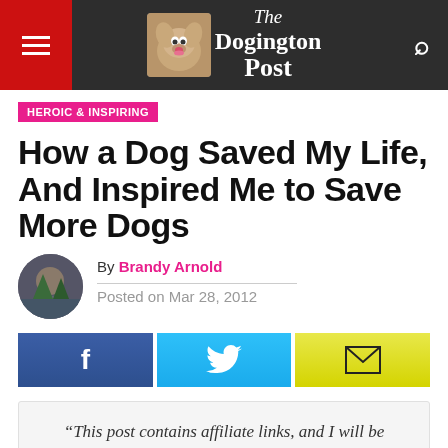The Dogington Post
HEROIC & INSPIRING
How a Dog Saved My Life, And Inspired Me to Save More Dogs
By Brandy Arnold
Posted on Mar 28, 2012
[Figure (infographic): Social share buttons: Facebook (f), Twitter (bird icon), Email (envelope icon)]
“This post contains affiliate links, and I will be compensated if you make a purchase after clicking on my links.”